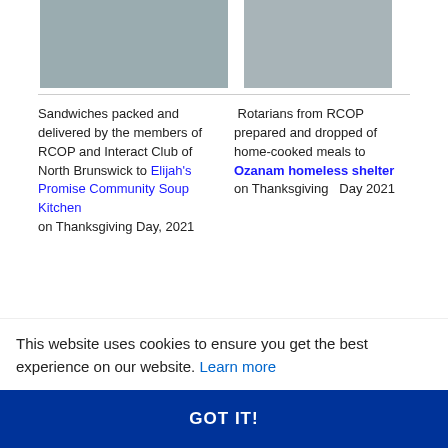[Figure (photo): Group of people with masks standing near bags of sandwiches by a vehicle]
[Figure (photo): People standing near a car with open trunk in a parking lot]
Sandwiches packed and delivered by the members of RCOP and Interact Club of North Brunswick to Elijah's Promise Community Soup Kitchen on Thanksgiving Day, 2021
Rotarians from RCOP prepared and dropped of home-cooked meals to Ozanam homeless shelter on Thanksgiving Day 2021
This website uses cookies to ensure you get the best experience on our website. Learn more
GOT IT!